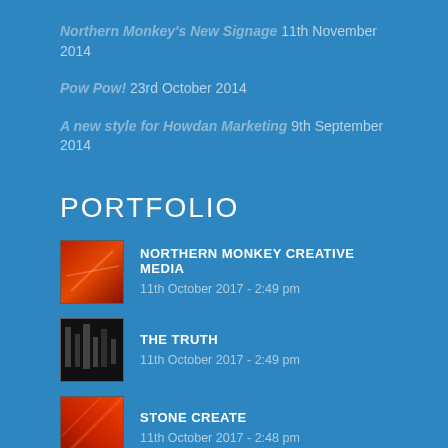Northern Monkey's New Signage 11th November 2014
Pow Pow! 23rd October 2014
A new style for Howdan Marketing 9th September 2014
PORTFOLIO
NORTHERN MONKEY CREATIVE MEDIA
11th October 2017 - 2:49 pm
THE TRUTH
11th October 2017 - 2:49 pm
STONE CREATE
11th October 2017 - 2:48 pm